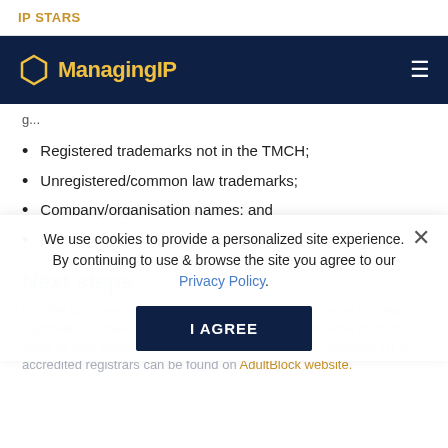IP STARS
Managing IP
g...
Registered trademarks not in the TMCH;
Unregistered/common law trademarks;
Company/organisation names; and
Names of celebrities and public figures.
Next steps
In order to convert an existing defence is both, or to protect a new trademark or name in either the AdultBlock or AdultBlock+ product, apply to your preferred corporate or retail domain. A complete list of accredited registrars can be found on AdultBlock website.
We use cookies to provide a personalized site experience. By continuing to use & browse the site you agree to our Privacy Policy.